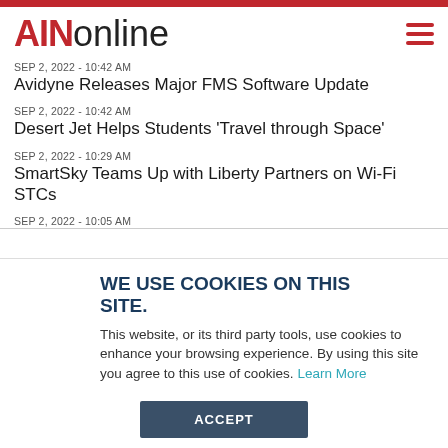AINonline
SEP 2, 2022 - 10:42 AM
Avidyne Releases Major FMS Software Update
SEP 2, 2022 - 10:42 AM
Desert Jet Helps Students 'Travel through Space'
SEP 2, 2022 - 10:29 AM
SmartSky Teams Up with Liberty Partners on Wi-Fi STCs
SEP 2, 2022 - 10:05 AM
WE USE COOKIES ON THIS SITE.
This website, or its third party tools, use cookies to enhance your browsing experience. By using this site you agree to this use of cookies. Learn More
ACCEPT